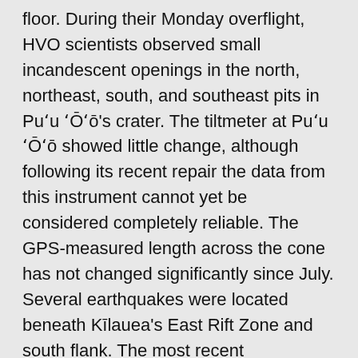floor. During their Monday overflight, HVO scientists observed small incandescent openings in the north, northeast, south, and southeast pits in Puʻu ʻŌʻō's crater. The tiltmeter at Puʻu ʻŌʻō showed little change, although following its recent repair the data from this instrument cannot yet be considered completely reliable. The GPS-measured length across the cone has not changed significantly since July. Several earthquakes were located beneath Kīlauea's East Rift Zone and south flank. The most recent measurement of sulfur dioxide emissions from the East Rift Zone was 320 tonnes per day on October 31, 2014.
Summit Observations: Inflationary summit tilt began on Monday afternoon and has continued at a decreasing rate. The surface height of the lava lake in the Overlook vent was measured at 52 m (57 yards) below the vent rim on Monday at 0955h, and thermal camera images show that the surface has risen since that time in